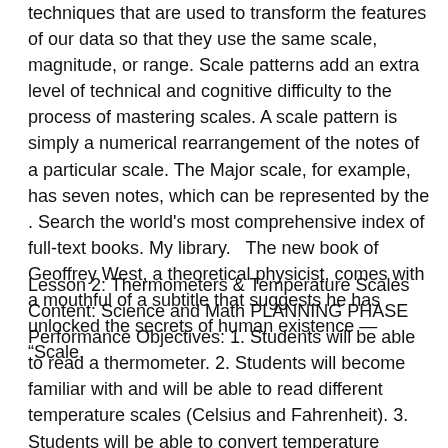techniques that are used to transform the features of our data so that they use the same scale, magnitude, or range. Scale patterns add an extra level of technical and cognitive difficulty to the process of mastering scales. A scale pattern is simply a numerical rearrangement of the notes of a particular scale. The Major scale, for example, has seven notes, which can be represented by the . Search the world's most comprehensive index of full-text books. My library.   The new book of Geoffrey West, a theoretical physicist, comes with a mouthful of a subtitle that suggests he has unlocked the secrets of human existence — “Scale.
Lesson 2: Thermometers & Temperature Scales Content: Science and Math PLANNING PHASE Performance Objectives: 1. Students will be able to read a thermometer. 2. Students will become familiar with and will be able to read different temperature scales (Celsius and Fahrenheit). 3. Students will be able to convert temperature scales. 4. Books Cultural Humility will be published by APA press in This book is a short...